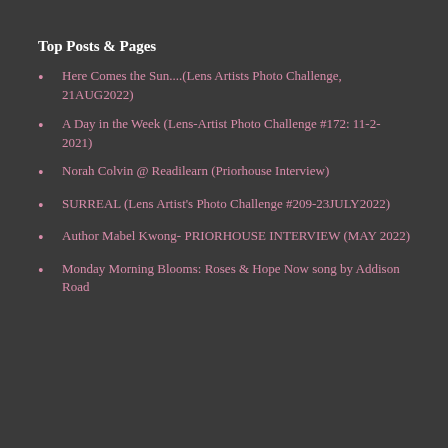Top Posts & Pages
Here Comes the Sun....(Lens Artists Photo Challenge, 21AUG2022)
A Day in the Week (Lens-Artist Photo Challenge #172: 11-2-2021)
Norah Colvin @ Readilearn (Priorhouse Interview)
SURREAL (Lens Artist's Photo Challenge #209-23JULY2022)
Author Mabel Kwong- PRIORHOUSE INTERVIEW (MAY 2022)
Monday Morning Blooms: Roses & Hope Now song by Addison Road